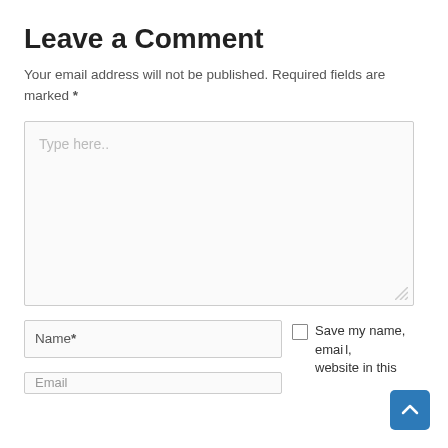Leave a Comment
Your email address will not be published. Required fields are marked *
[Figure (screenshot): Large comment text area input box with placeholder text 'Type here..' and a resize handle in the bottom right corner]
[Figure (screenshot): Name* text input field, partially visible Email* input field below, and a checkbox with 'Save my name, email, website in this...' text, plus a blue scroll-to-top button]
Name*
Save my name, email, website in this